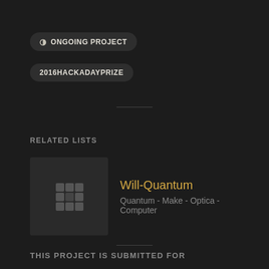ONGOING PROJECT
2016HACKADAYPRIZE
RELATED LISTS
Will-Quantum
Quantum - Make - Optica - Computer
THIS PROJECT IS SUBMITTED FOR